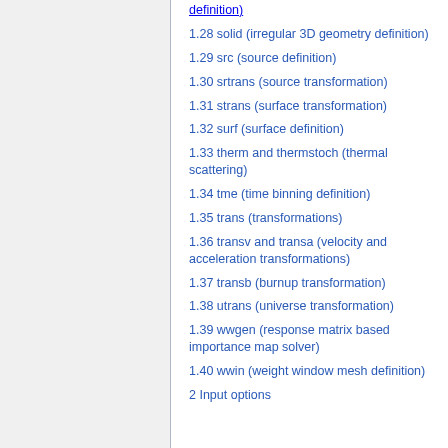definition)
1.28 solid (irregular 3D geometry definition)
1.29 src (source definition)
1.30 srtrans (source transformation)
1.31 strans (surface transformation)
1.32 surf (surface definition)
1.33 therm and thermstoch (thermal scattering)
1.34 tme (time binning definition)
1.35 trans (transformations)
1.36 transv and transa (velocity and acceleration transformations)
1.37 transb (burnup transformation)
1.38 utrans (universe transformation)
1.39 wwgen (response matrix based importance map solver)
1.40 wwin (weight window mesh definition)
2 Input options